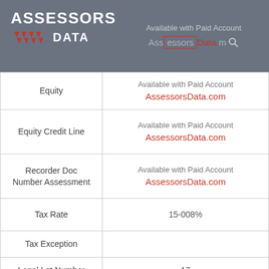[Figure (logo): Assessors Data logo with red diamond shapes on gray background header bar]
| Field | Value |
| --- | --- |
| Equity | Available with Paid Account
AssessorsData.com |
| Equity Credit Line | Available with Paid Account
AssessorsData.com |
| Recorder Doc Number Assessment | Available with Paid Account
AssessorsData.com |
| Tax Rate | 15-008% |
| Tax Exception |  |
| Legal Lot Number | 17 |